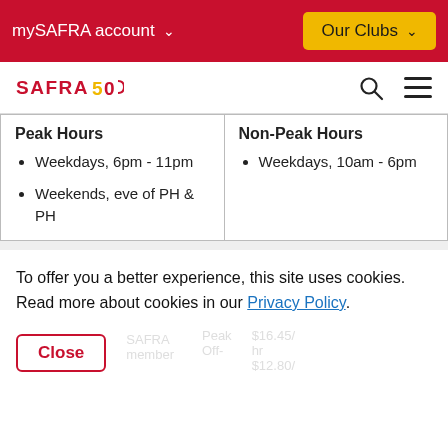mySAFRA account  Our Clubs
[Figure (logo): SAFRA 50th anniversary logo]
| Peak Hours | Non-Peak Hours |
| --- | --- |
| Weekdays, 6pm - 11pm
Weekends, eve of PH & PH | Weekdays, 10am - 6pm |
To offer you a better experience, this site uses cookies. Read more about cookies in our Privacy Policy.
Peak
$16.45/hr
Off-
$12.80/
SAFRA member